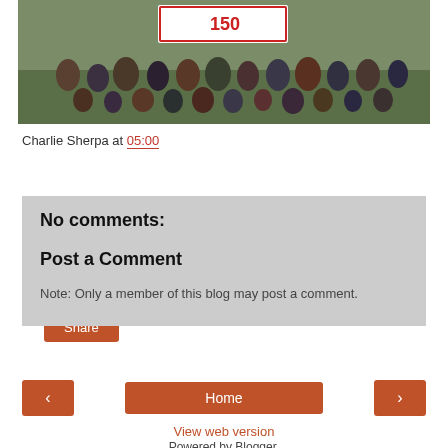[Figure (photo): Group photo of people on grass with a '150' sign banner, outdoors]
Charlie Sherpa at 05:00
Share
No comments:
Post a Comment
Note: Only a member of this blog may post a comment.
‹
Home
›
View web version
Powered by Blogger.